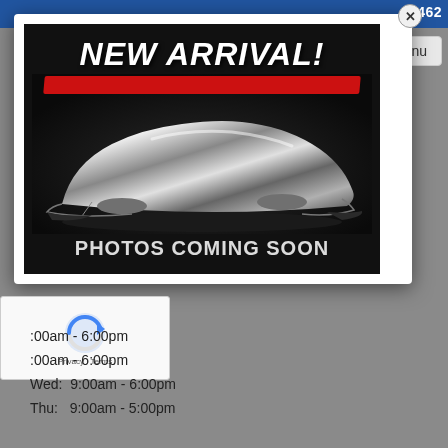[Figure (screenshot): Screenshot of a car dealership website showing a modal popup with 'NEW ARRIVAL!' text and a car under a silver cover with 'PHOTOS COMING SOON' text. Background shows partial website with blue navigation bar, phone number ending in -5462, Menu button, and Sales Hours section at the bottom.]
-5462
Menu
NEW ARRIVAL!
PHOTOS COMING SOON
Sales Hours
:00am - 6:00pm
:00am - 6:00pm
Wed:  9:00am - 6:00pm
Thu:  9:00am - 5:00pm